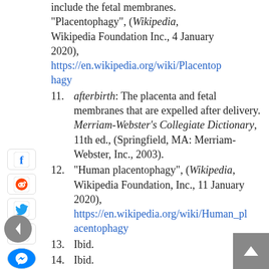(continuation) include the fetal membranes. "Placentophagy", (Wikipedia, Wikipedia Foundation Inc., 4 January 2020), https://en.wikipedia.org/wiki/Placentophagy
11. afterbirth: The placenta and fetal membranes that are expelled after delivery. Merriam-Webster’s Collegiate Dictionary, 11th ed., (Springfield, MA: Merriam-Webster, Inc., 2003).
12. “Human placentophagy”, (Wikipedia, Wikipedia Foundation, Inc., 11 January 2020), https://en.wikipedia.org/wiki/Human_placentophagy
13. Ibid.
14. Ibid.